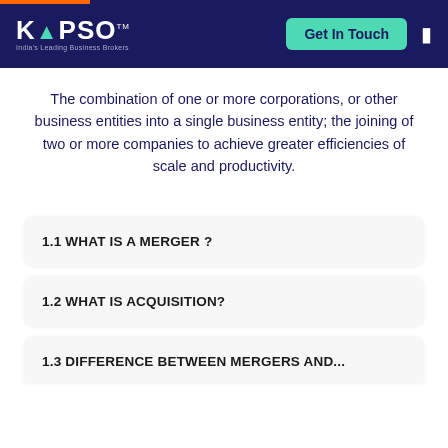KAPSO™ — India's Leading Business Brokers | Get In Touch
The combination of one or more corporations, or other business entities into a single business entity; the joining of two or more companies to achieve greater efficiencies of scale and productivity.
1.1 WHAT IS A MERGER ?
1.2 WHAT IS ACQUISITION?
1.3 DIFFERENCE BETWEEN MERGERS AND...